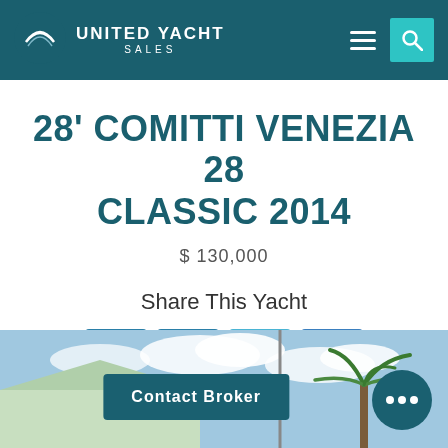UNITED YACHT SALES
28' COMITTI VENEZIA 28 CLASSIC 2014
$ 130,000
Share This Yacht
[Figure (screenshot): Photo of a boat/marina scene with palm tree and buildings in background]
Contact Broker